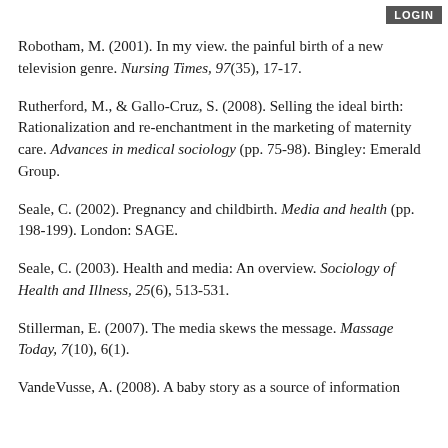LOGIN
Robotham, M. (2001). In my view. the painful birth of a new television genre. Nursing Times, 97(35), 17-17.
Rutherford, M., & Gallo-Cruz, S. (2008). Selling the ideal birth: Rationalization and re-enchantment in the marketing of maternity care. Advances in medical sociology (pp. 75-98). Bingley: Emerald Group.
Seale, C. (2002). Pregnancy and childbirth. Media and health (pp. 198-199). London: SAGE.
Seale, C. (2003). Health and media: An overview. Sociology of Health and Illness, 25(6), 513-531.
Stillerman, E. (2007). The media skews the message. Massage Today, 7(10), 6(1).
VandeVusse, A. (2008). A baby story as a source of information